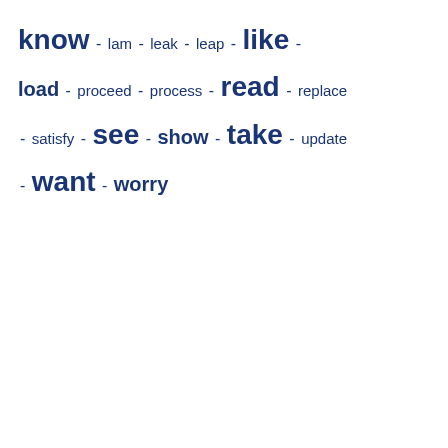know - lam - leak - leap - like - load - proceed - process - read - replace - satisfy - see - show - take - update - want - worry